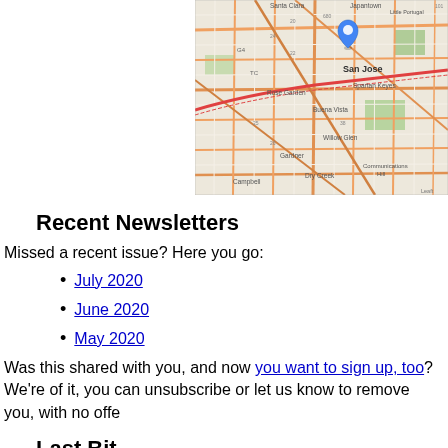[Figure (map): Street map of San Jose area showing neighborhoods including Rose Garden, Buena Vista, Willow Glen, Gardner, Dry Creek, Campbell, Spartan Keyes, Communications Hill, with a blue location pin over San Jose downtown. Map from Leaflet.]
Recent Newsletters
Missed a recent issue? Here you go:
July 2020
June 2020
May 2020
Was this shared with you, and now you want to sign up, too? We’re of it, you can unsubscribe or let us know to remove you, with no offe
Last Bit